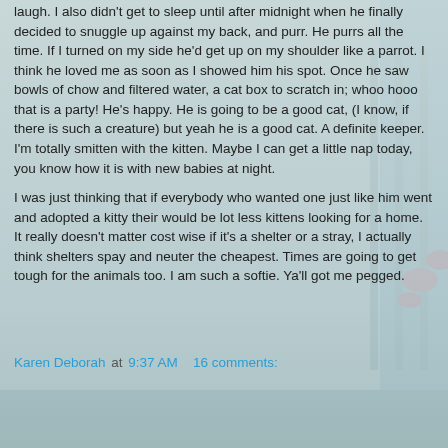laugh. I also didn't get to sleep until after midnight when he finally decided to snuggle up against my back, and purr. He purrs all the time. If I turned on my side he'd get up on my shoulder like a parrot. I think he loved me as soon as I showed him his spot. Once he saw bowls of chow and filtered water, a cat box to scratch in; whoo hooo that is a party! He's happy. He is going to be a good cat, (I know, if there is such a creature) but yeah he is a good cat. A definite keeper. I'm totally smitten with the kitten. Maybe I can get a little nap today, you know how it is with new babies at night.
I was just thinking that if everybody who wanted one just like him went and adopted a kitty their would be lot less kittens looking for a home. It really doesn't matter cost wise if it's a shelter or a stray, I actually think shelters spay and neuter the cheapest. Times are going to get tough for the animals too. I am such a softie. Ya'll got me pegged.
Karen Deborah at 9:37 AM   16 comments:
Share